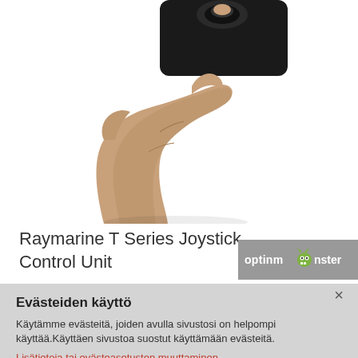[Figure (photo): A hand pressing a black Raymarine T Series Joystick Control Unit device against a white background.]
Raymarine T Series Joystick Control Unit
[Figure (logo): OptinMonster logo badge on a grey background]
Evästeiden käyttö
Käytämme evästeitä, joiden avulla sivustosi on helpompi käyttää.Käyttäen sivustoa suostut käyttämään evästeitä.
Lisätietoja tai evästeasetusten muuttaminen